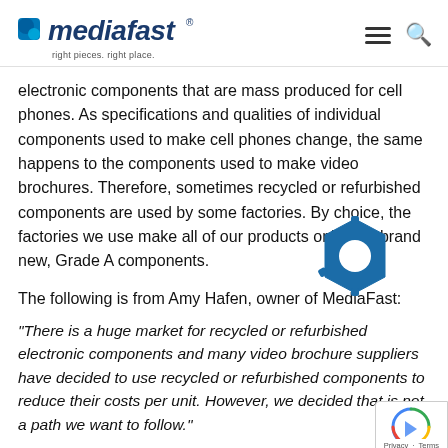mediafast — right pieces. right place.
electronic components that are mass produced for cell phones. As specifications and qualities of individual components used to make cell phones change, the same happens to the components used to make video brochures. Therefore, sometimes recycled or refurbished components are used by some factories. By choice, the factories we use make all of our products only with brand new, Grade A components.
The following is from Amy Hafen, owner of MediaFast:
“There is a huge market for recycled or refurbished electronic components and many video brochure suppliers have decided to use recycled or refurbished components to reduce their costs per unit. However, we decided that is not a path we want to follow.”
[Figure (logo): Blue gear/hexagon icon overlay in center-right area of page]
[Figure (logo): reCAPTCHA privacy badge in bottom-right corner]